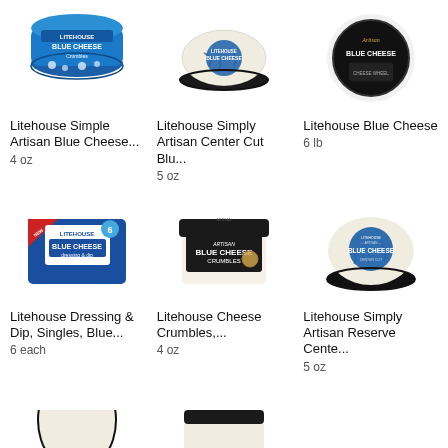[Figure (photo): Litehouse Simple Artisan Blue Cheese Crumbles container - round blue container]
Litehouse Simple Artisan Blue Cheese...
4 oz
[Figure (photo): Litehouse Simply Artisan Center Cut Blue Cheese - round cheese wheel in clear container with black tray]
Litehouse Simply Artisan Center Cut Blu...
5 oz
[Figure (photo): Artisan Blue Cheese - round black labeled package in clear wrap]
Litehouse Blue Cheese
6 lb
[Figure (photo): Litehouse Blue Cheese Dressing & Dip Singles - flat rectangular blue package, 6 singles]
Litehouse Dressing & Dip, Singles, Blue...
6 each
[Figure (photo): Litehouse Artisan Blue Cheese Crumbles - rectangular black-lidded container]
Litehouse Cheese Crumbles,...
4 oz
[Figure (photo): Litehouse Simply Artisan Reserve Center Cut Blue Cheese - round in black tray]
Litehouse Simply Artisan Reserve Cente...
5 oz